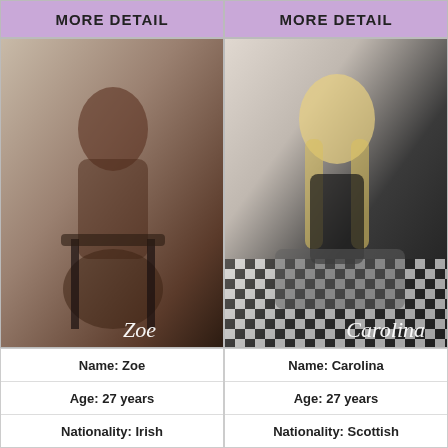MORE DETAIL
MORE DETAIL
[Figure (photo): Photo of a woman named Zoe, posing on a chair, with name overlay text 'Zoe']
[Figure (photo): Photo of a woman named Carolina, sitting on a chair, with name overlay text 'Carolina']
| Name: Zoe |
| Age: 27 years |
| Nationality: Irish |
| Name: Carolina |
| Age: 27 years |
| Nationality: Scottish |